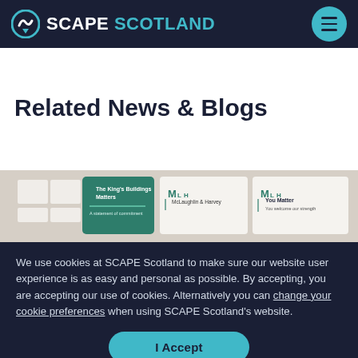SCAPE SCOTLAND
Related News & Blogs
[Figure (photo): Photo strip showing MLH branded signage/panels including 'The King's Buildings Matters', 'McLaughlin & Harvey', and 'You Matter – You welcome our strength' posters on a display stand]
We use cookies at SCAPE Scotland to make sure our website user experience is as easy and personal as possible. By accepting, you are accepting our use of cookies. Alternatively you can change your cookie preferences when using SCAPE Scotland's website.
I Accept